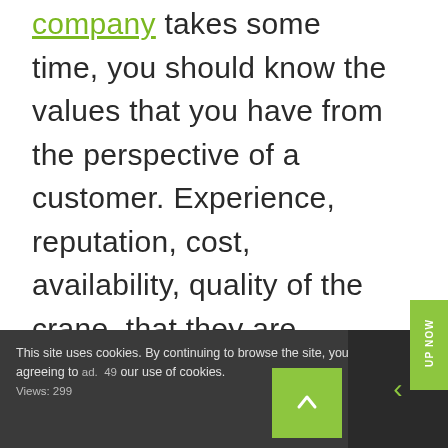company takes some time, you should know the values that you have from the perspective of a customer. Experience, reputation, cost, availability, quality of the crane, that they are properly licensed, and insured are a few factors that will likely weigh into your decision. A contract must be in place prior to any payment or operation, the plan should be clear every step of the way.
This site uses cookies. By continuing to browse the site, you are agreeing to our use of cookies.
ad. 49
Views: 299